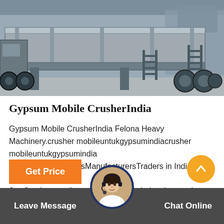[Figure (photo): Industrial mobile crusher or flatbed trailer equipment on a concrete surface, showing heavy metal structure with ladders and truck wheels]
Gypsum Mobile CrusherIndia
Gypsum Mobile CrusherIndia Felona Heavy Machinery.crusher mobileuntukgypsumindiacrusher mobileuntukgypsumindia JawCrusherSuppliersManufacturersTraders in India Get latest info on JawCrushersuppliersmanufacturerswholesalers traders with…
Get Price
Leave Message
Chat Online